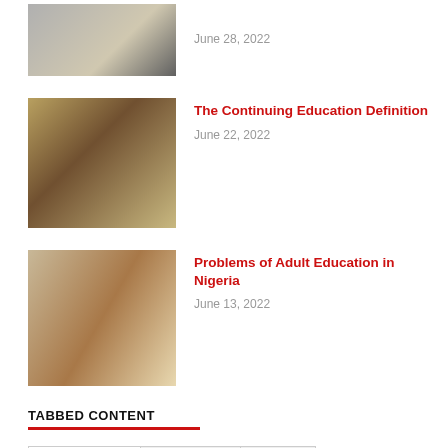[Figure (photo): Partially visible photo at top — person at laptop]
June 28, 2022
[Figure (photo): Library scene with Continuing Education banner]
The Continuing Education Definition
June 22, 2022
[Figure (photo): Group of adults in a classroom setting in Nigeria]
Problems of Adult Education in Nigeria
June 13, 2022
TABBED CONTENT
Categories | Archives | Tags
Adult Education